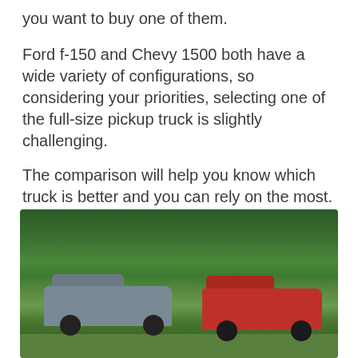you want to buy one of them.
Ford f-150 and Chevy 1500 both have a wide variety of configurations, so considering your priorities, selecting one of the full-size pickup truck is slightly challenging.
The comparison will help you know which truck is better and you can rely on the most.
[Figure (photo): Two pickup trucks parked on grass in front of a forest — a gray truck on the left and a red truck on the right.]